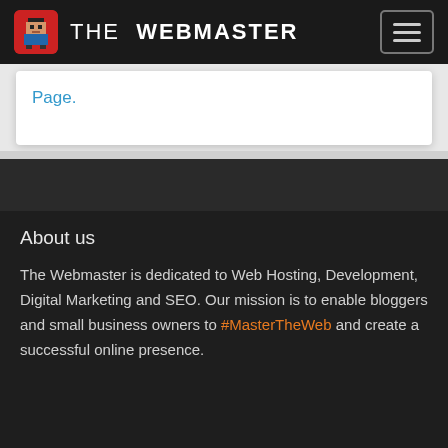THE WEBMASTER
Page.
About us
The Webmaster is dedicated to Web Hosting, Development, Digital Marketing and SEO. Our mission is to enable bloggers and small business owners to #MasterTheWeb and create a successful online presence.